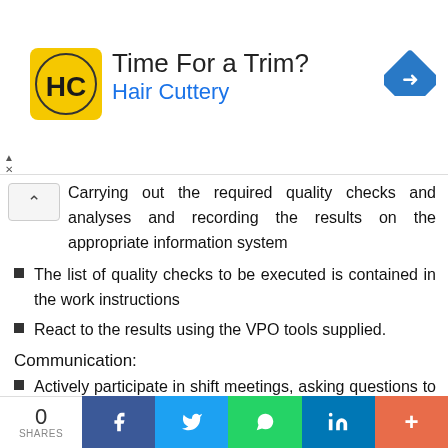[Figure (other): Hair Cuttery advertisement banner with HC logo, text 'Time For a Trim?' and 'Hair Cuttery', with a navigation/directions icon]
Carrying out the required quality checks and analyses and recording the results on the appropriate information system
The list of quality checks to be executed is contained in the work instructions
React to the results using the VPO tools supplied.
Communication:
Actively participate in shift meetings, asking questions to test understanding and contributing suggestions. making use of the action logs to record issues, problems and improvement
0 SHARES | Facebook | Twitter | WhatsApp | LinkedIn | More